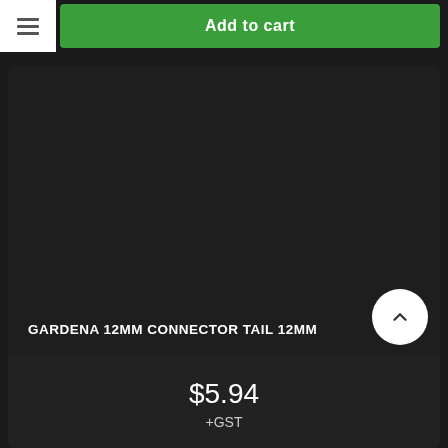[Figure (screenshot): Add to cart green button at top of e-commerce product page]
[Figure (photo): Dark product image area for GARDENA 12MM CONNECTOR TAIL 12MM, no product photo visible]
GARDENA 12MM CONNECTOR TAIL 12MM
$5.94
+GST